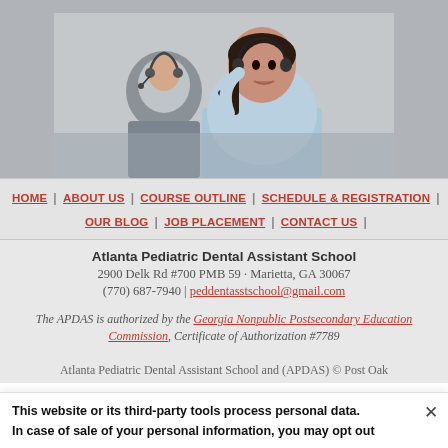[Figure (photo): People wearing headsets, woman in light blue top in foreground looking up, man in grey sweater beside her, indoor call center or training environment]
HOME | ABOUT US | COURSE OUTLINE | SCHEDULE & REGISTRATION | OUR BLOG | JOB PLACEMENT | CONTACT US |
Atlanta Pediatric Dental Assistant School
2900 Delk Rd #700 PMB 59 · Marietta, GA 30067
(770) 687-7940 | peddentasstschool@gmail.com
The APDAS is authorized by the Georgia Nonpublic Postsecondary Education Commission, Certificate of Authorization #7789
Atlanta Pediatric Dental Assistant School and (APDAS) © Post Oak
This website or its third-party tools process personal data. In case of sale of your personal information, you may opt out